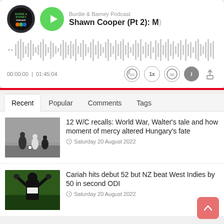[Figure (screenshot): Podcast player widget showing Burdie & Barney Podcast - Shawn Cooper (Pt 2) episode with waveform, time 00:00:00 | 01:45:04, and playback controls]
[Figure (screenshot): Navigation tabs: Recent (active), Popular, Comments, Tags]
[Figure (photo): Black and white photo of football/soccer players on a pitch]
12 W/C recalls: World War, Walter's tale and how moment of mercy altered Hungary's fate
Saturday 20 August 2022
[Figure (photo): Cricket player celebrating with arms raised, wearing dark uniform]
Cariah hits debut 52 but NZ beat West Indies by 50 in second ODI
Saturday 20 August 2022